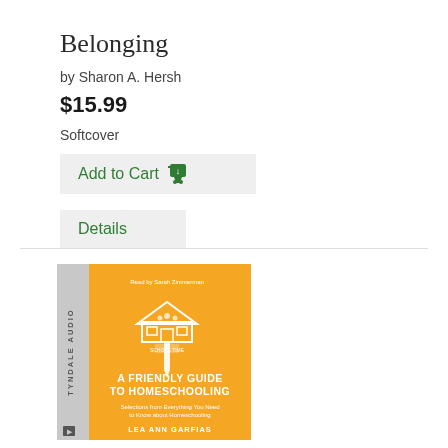Belonging
by Sharon A. Hersh
$15.99
Softcover
Add to Cart
Details
[Figure (illustration): Book cover for 'A Friendly Guide to Homeschooling' by Lea Ann Garfias, Tyndale Audio edition. Orange cover with house/pencil icon and silhouettes of people. Subtitle: Selections from Everything You Need to Know about Homeschooling.]